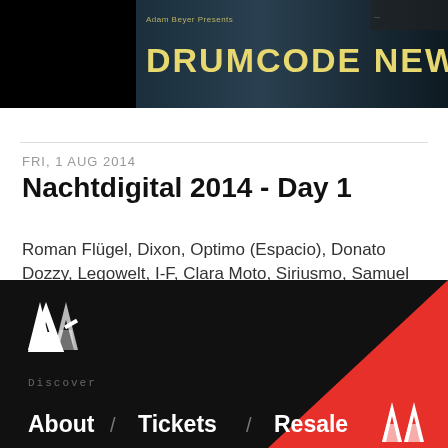[Figure (photo): Drumcode New York City banner with dark cityscape background and yellow text]
Nachtdigital 2014 - Day 1
FRI, 1 AUG 2014
Roman Flügel, Dixon, Optimo (Espacio), Donato Dozzy, Legowelt, I-F, Clara Moto, Siriusmo, Samuel Kerridge,...
Leipzig  Bungalowdorf Olganitz  92
[Figure (logo): Resident Advisor logo on dark footer with red triangle and About / Tickets / Resale navigation]